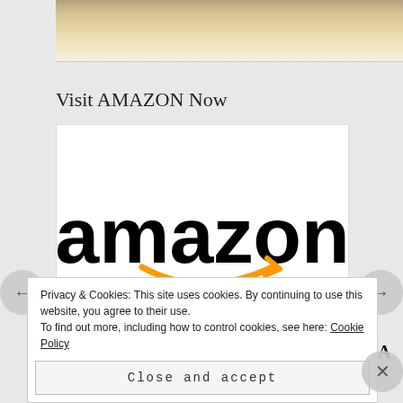[Figure (photo): Top portion of a food photo showing bread/pastry on a plate, cropped at top]
Visit AMAZON Now
[Figure (logo): Amazon logo: black 'amazon' text with orange smile/arrow beneath]
Author DANIEL BELLINO ZWICKE … A Walk in His Home Neighborhood of GREENWICH
Privacy & Cookies: This site uses cookies. By continuing to use this website, you agree to their use.
To find out more, including how to control cookies, see here: Cookie Policy
Close and accept